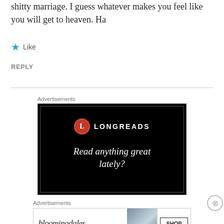shitty marriage. I guess whatever makes you feel like you will get to heaven. Ha
★ Like
REPLY
[Figure (screenshot): Longreads advertisement banner with black background, red circle logo with L, text 'LONGREADS' and tagline 'Read anything great lately?']
Advertisements
[Figure (screenshot): Bloomingdale's advertisement banner showing logo, 'View Today's Top Deals!' text, woman with hat image, and 'SHOP NOW >' button]
Advertisements